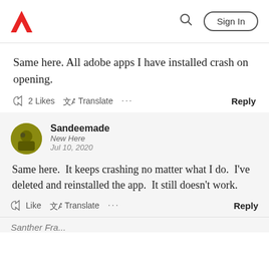Adobe community forum header with Adobe logo, search icon, and Sign In button
Same here. All adobe apps I have installed crash on opening.
2 Likes  Translate  ...  Reply
Sandeemade
New Here
Jul 10, 2020
Same here.  It keeps crashing no matter what I do.  I've deleted and reinstalled the app.  It still doesn't work.
Like  Translate  ...  Reply